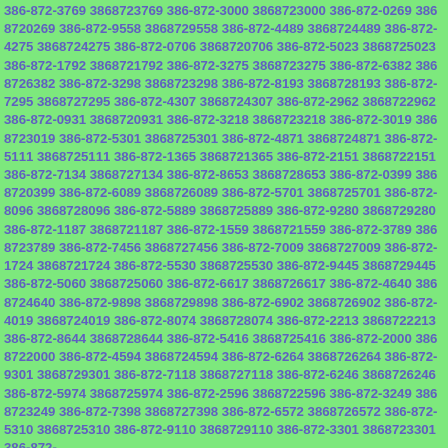386-872-3769 3868723769 386-872-3000 3868723000 386-872-0269 3868720269 386-872-9558 3868729558 386-872-4489 3868724489 386-872-4275 3868724275 386-872-0706 3868720706 386-872-5023 3868725023 386-872-1792 3868721792 386-872-3275 3868723275 386-872-6382 3868726382 386-872-3298 3868723298 386-872-8193 3868728193 386-872-7295 3868727295 386-872-4307 3868724307 386-872-2962 3868722962 386-872-0931 3868720931 386-872-3218 3868723218 386-872-3019 3868723019 386-872-5301 3868725301 386-872-4871 3868724871 386-872-5111 3868725111 386-872-1365 3868721365 386-872-2151 3868722151 386-872-7134 3868727134 386-872-8653 3868728653 386-872-0399 3868720399 386-872-6089 3868726089 386-872-5701 3868725701 386-872-8096 3868728096 386-872-5889 3868725889 386-872-9280 3868729280 386-872-1187 3868721187 386-872-1559 3868721559 386-872-3789 3868723789 386-872-7456 3868727456 386-872-7009 3868727009 386-872-1724 3868721724 386-872-5530 3868725530 386-872-9445 3868729445 386-872-5060 3868725060 386-872-6617 3868726617 386-872-4640 3868724640 386-872-9898 3868729898 386-872-6902 3868726902 386-872-4019 3868724019 386-872-8074 3868728074 386-872-2213 3868722213 386-872-8644 3868728644 386-872-5416 3868725416 386-872-2000 3868722000 386-872-4594 3868724594 386-872-6264 3868726264 386-872-9301 3868729301 386-872-7118 3868727118 386-872-6246 3868726246 386-872-5974 3868725974 386-872-2596 3868722596 386-872-3249 3868723249 386-872-7398 3868727398 386-872-6572 3868726572 386-872-5310 3868725310 386-872-9110 3868729110 386-872-3301 3868723301 386-872-...